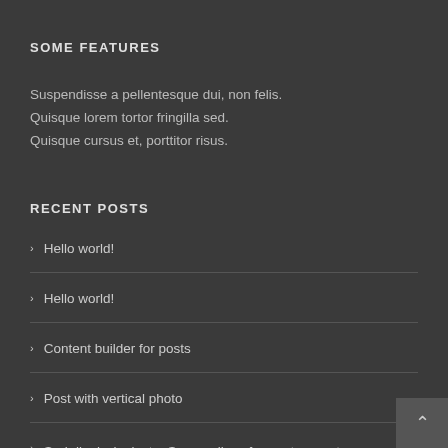SOME FEATURES
Suspendisse a pellentesque dui, non felis.
Quisque lorem tortor fringilla sed.
Quisque cursus et, porttitor risus.
RECENT POSTS
Hello world!
Hello world!
Content builder for posts
Post with vertical photo
Sed dignissim justo. Suspendisse fermentum erat. Duis conse , tortor. Mauris ut tellus a dolor. Suspendisse nec tellus. Donec quis